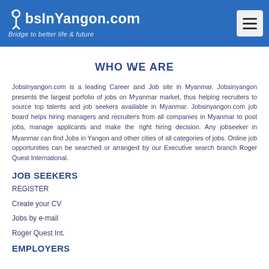JobsInYangon.com — Bridge to better life & future
WHO WE ARE
Jobsinyangon.com is a leading Career and Job site in Myanmar. Jobsinyangon presents the largest porfolio of jobs on Myanmar market, thus helping recruiters to source top talents and job seekers available in Myanmar. Jobsinyangon.com job board helps hiring managers and recruiters from all companies in Myanmar to post jobs, manage applicants and make the right hiring decision. Any jobseeker in Myanmar can find Jobs in Yangon and other cities of all categories of jobs. Online job opportunities can be searched or arranged by our Executive search branch Roger Quest International.
JOB SEEKERS
REGISTER
Create your CV
Jobs by e-mail
Roger Quest Int.
EMPLOYERS